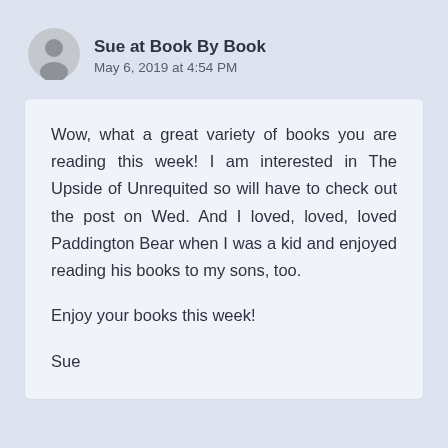[Figure (illustration): Gray circular avatar icon with a generic person silhouette]
Sue at Book By Book
May 6, 2019 at 4:54 PM
Wow, what a great variety of books you are reading this week! I am interested in The Upside of Unrequited so will have to check out the post on Wed. And I loved, loved, loved Paddington Bear when I was a kid and enjoyed reading his books to my sons, too.

Enjoy your books this week!

Sue